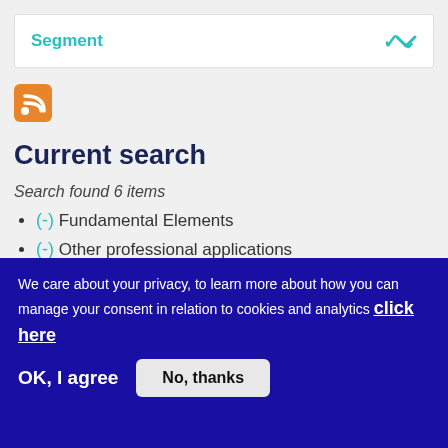Segment
[Figure (other): RSS feed orange icon]
Current search
Search found 6 items
(-) Fundamental Elements
(-) Other professional applications
(-) Aviation
We care about your privacy, to learn more about how you can manage your consent in relation to cookies and analytics click here
OK, I agree
No, thanks